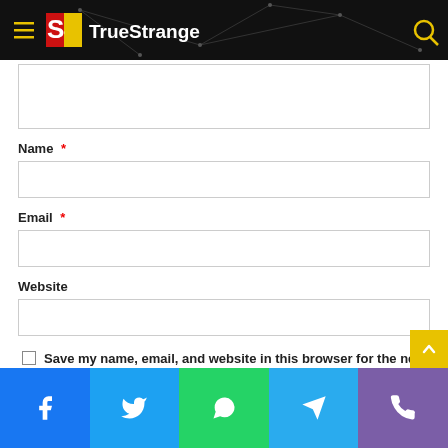[Figure (logo): TrueStrange website header with hamburger menu, logo, and search icon on black background with network graph lines]
(partial comment textarea)
Name *
Email *
Website
Save my name, email, and website in this browser for the next time I comment.
[Figure (screenshot): Social share bar with Facebook, Twitter, WhatsApp, Telegram, and Phone icons]